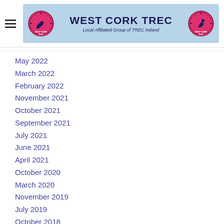[Figure (logo): West Cork TREC logo banner with horse and rider silhouettes, pink circles, blue background, text 'WEST CORK TREC' and 'Local Affiliated Group of TREC Ireland']
May 2022
March 2022
February 2022
November 2021
October 2021
September 2021
July 2021
June 2021
April 2021
October 2020
March 2020
November 2019
July 2019
October 2018
June 2018
April 2018